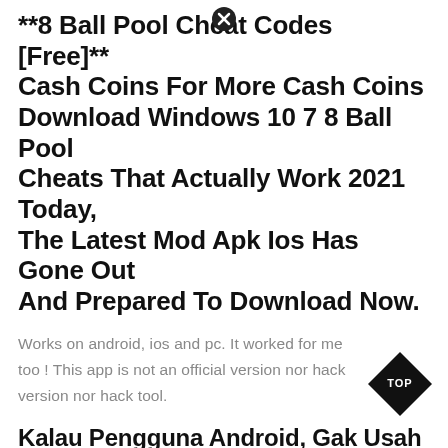**8 Ball Pool Cheat Codes [Free]** Cash Coins For More Cash Coins Download Windows 10 7 8 Ball Pool Cheats That Actually Work 2021 Today, The Latest Mod Apk Ios Has Gone Out And Prepared To Download Now.
Works on android, ios and pc. It worked for me too ! This app is not an official version nor hack version nor hack tool.
Kalau Pengguna Android, Gak Usah Pusing Karena Sekarang Sudah Ada Versi Mod Dari Game 8 Ball Pool.
Our team finished this new cheat and they're prepared to give it to yo⊗ Also available for free